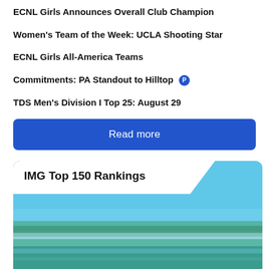ECNL Girls Announces Overall Club Champion
Women's Team of the Week: UCLA Shooting Star
ECNL Girls All-America Teams
Commitments: PA Standout to Hilltop [P icon]
TDS Men's Division I Top 25: August 29
Read more
[Figure (photo): IMG Top 150 Rankings card with an aerial landscape photo of a soccer field area and blue sky, with a white angled header banner reading 'IMG Top 150 Rankings']